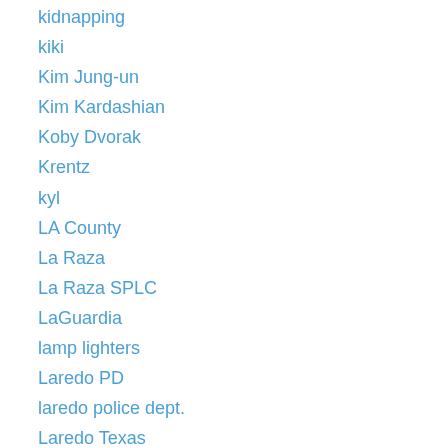kidnapping
kiki
Kim Jung-un
Kim Kardashian
Koby Dvorak
Krentz
kyl
LA County
La Raza
La Raza SPLC
LaGuardia
lamp lighters
Laredo PD
laredo police dept.
Laredo Texas
Larry Link
Larry Link murder
latino and labor unions
Latinos
lawsuit